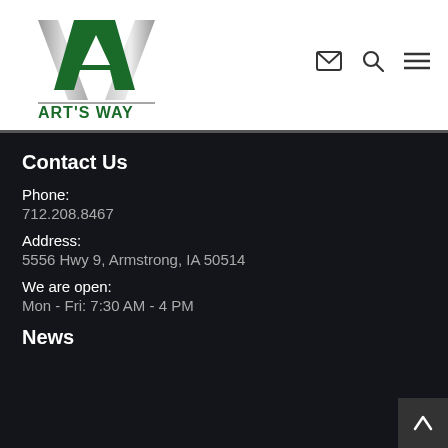[Figure (logo): Art's Way logo with stylized AW letters in green and silver, with text ART'S WAY below]
Contact Us
Phone:
712.208.8467
Address:
5556 Hwy 9, Armstrong, IA 50514
We are open:
Mon - Fri: 7:30 AM - 4 PM
News